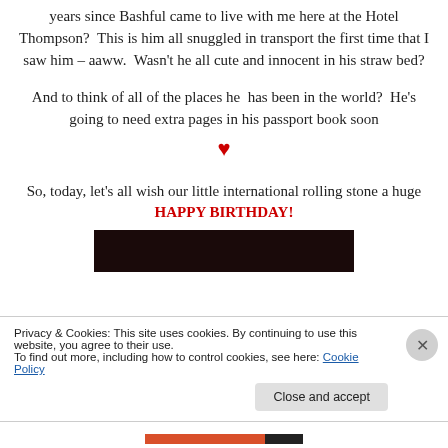Thompson?  This is him all snuggled in transport the first time that I saw him – aaww.  Wasn't he all cute and innocent in his straw bed?
And to think of all of the places he  has been in the world?  He's going to need extra pages in his passport book soon ♥
So, today, let's all wish our little international rolling stone a huge HAPPY BIRTHDAY!
[Figure (photo): Dark photo strip, partially visible, appears to be a birthday-related image]
Privacy & Cookies: This site uses cookies. By continuing to use this website, you agree to their use.
To find out more, including how to control cookies, see here: Cookie Policy